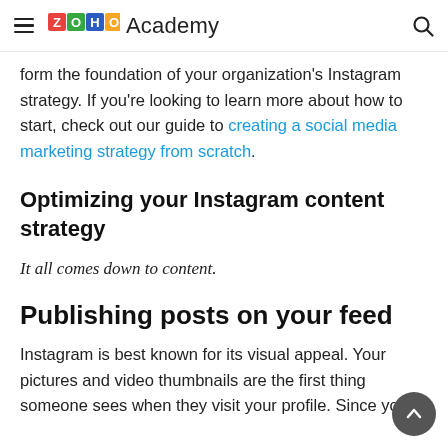ZOHO Academy
form the foundation of your organization's Instagram strategy. If you're looking to learn more about how to start, check out our guide to creating a social media marketing strategy from scratch.
Optimizing your Instagram content strategy
It all comes down to content.
Publishing posts on your feed
Instagram is best known for its visual appeal. Your pictures and video thumbnails are the first thing someone sees when they visit your profile. Since your